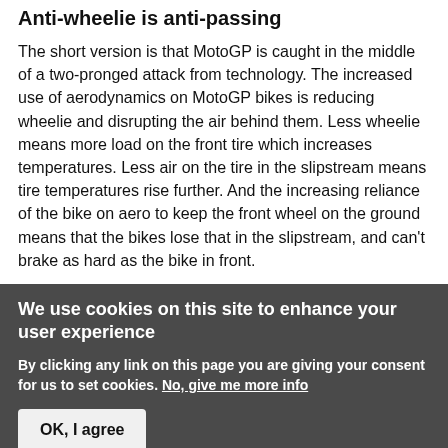Anti-wheelie is anti-passing
The short version is that MotoGP is caught in the middle of a two-pronged attack from technology. The increased use of aerodynamics on MotoGP bikes is reducing wheelie and disrupting the air behind them. Less wheelie means more load on the front tire which increases temperatures. Less air on the tire in the slipstream means tire temperatures rise further. And the increasing reliance of the bike on aero to keep the front wheel on the ground means that the bikes lose that in the slipstream, and can't brake as hard as the bike in front.
We use cookies on this site to enhance your user experience
By clicking any link on this page you are giving your consent for us to set cookies. No, give me more info
OK, I agree